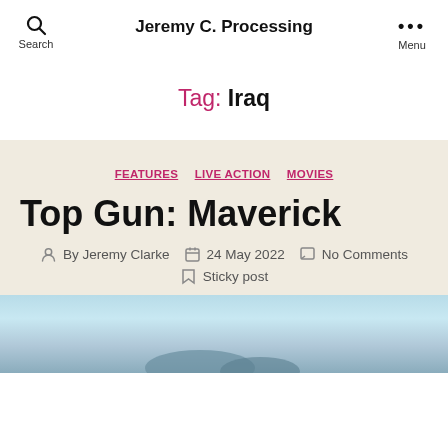Jeremy C. Processing
Tag: Iraq
FEATURES  LIVE ACTION  MOVIES
Top Gun: Maverick
By Jeremy Clarke  24 May 2022  No Comments  Sticky post
[Figure (photo): Partial photo at bottom of page showing a scenic sky and landscape scene, likely related to Top Gun: Maverick]